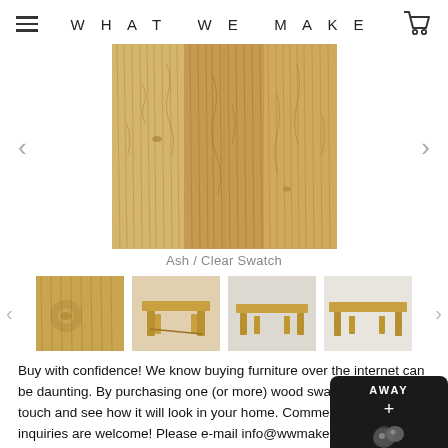WHAT WE MAKE
[Figure (photo): Close-up photo of ash wood grain with clear finish, showing natural wood texture and grain patterns]
Ash / Clear Swatch
[Figure (photo): Four thumbnail images showing wood swatch and bench furniture pieces in ash/clear finish]
Buy with confidence! We know buying furniture over the internet can be daunting. By purchasing one (or more) wood swatches you can touch and see how it will look in your home. Commercial and custom inquiries are welcome! Please e-mail info@wwmake.com or call 331.442.4830.